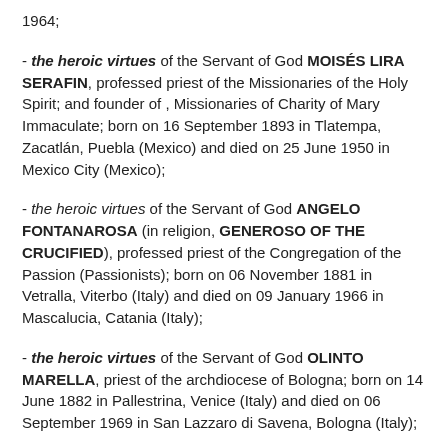1964;
- the heroic virtues of the Servant of God MOISÉS LIRA SERAFIN, professed priest of the Missionaries of the Holy Spirit; and founder of , Missionaries of Charity of Mary Immaculate; born on 16 September 1893 in Tlatempa, Zacatlán, Puebla (Mexico) and died on 25 June 1950 in Mexico City (Mexico);
- the heroic virtues of the Servant of God ANGELO FONTANAROSA (in religion, GENEROSO OF THE CRUCIFIED), professed priest of the Congregation of the Passion (Passionists); born on 06 November 1881 in Vetralla, Viterbo (Italy) and died on 09 January 1966 in Mascalucia, Catania (Italy);
- the heroic virtues of the Servant of God OLINTO MARELLA, priest of the archdiocese of Bologna; born on 14 June 1882 in Pallestrina, Venice (Italy) and died on 06 September 1969 in San Lazzaro di Savena, Bologna (Italy);
- the heroic virtues of the Servant of God ANTONI KOWALCZYK, professed religious of the Missionary Oblates of Mary Immaculate;